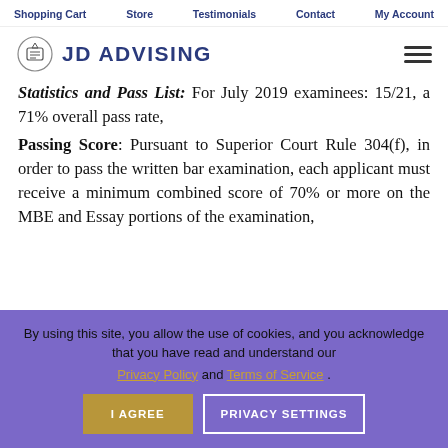Shopping Cart  Store  Testimonials  Contact  My Account
[Figure (logo): JD Advising logo with diploma icon and text 'JD ADVISING']
Statistics and Pass List: For July 2019 examinees: 15/21, a 71% overall pass rate,
Passing Score: Pursuant to Superior Court Rule 304(f), in order to pass the written bar examination, each applicant must receive a minimum combined score of 70% or more on the MBE and Essay portions of the examination,
By using this site, you allow the use of cookies, and you acknowledge that you have read and understand our Privacy Policy and Terms of Service.